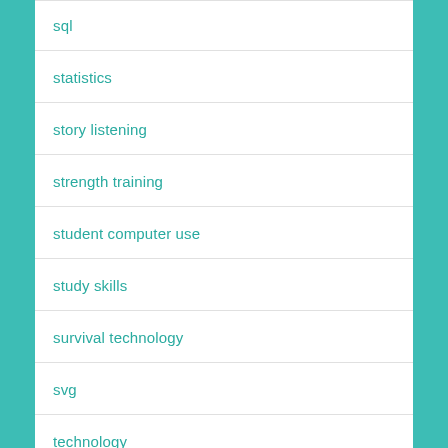sql
statistics
story listening
strength training
student computer use
study skills
survival technology
svg
technology
television shows
text editors
text editors